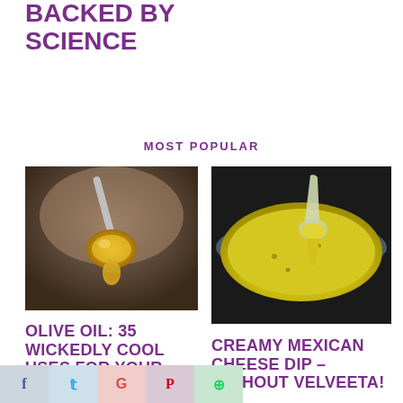BACKED BY SCIENCE
MOST POPULAR
[Figure (photo): Close-up of golden olive oil dripping from a spoon held by a person]
[Figure (photo): Creamy yellow cheese dip in a bowl with a spoon scooping it]
OLIVE OIL: 35 WICKEDLY COOL USES FOR YOUR HOME & BODY
CREAMY MEXICAN CHEESE DIP – WITHOUT VELVEETA!